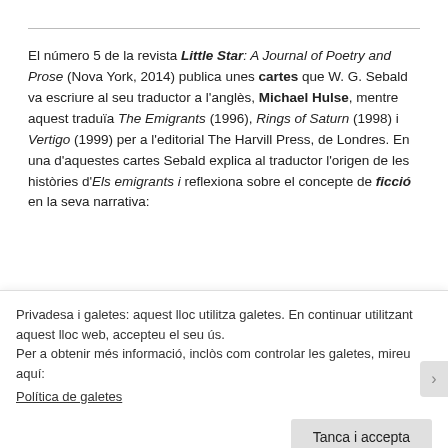El número 5 de la revista Little Star: A Journal of Poetry and Prose (Nova York, 2014) publica unes cartes que W. G. Sebald va escriure al seu traductor a l'anglès, Michael Hulse, mentre aquest traduïa The Emigrants (1996), Rings of Saturn (1998) i Vertigo (1999) per a l'editorial The Harvill Press, de Londres. En una d'aquestes cartes Sebald explica al traductor l'origen de les històries d'Els emigrants i reflexiona sobre el concepte de ficció en la seva narrativa:
About the degree of fictionality in Die Ausgewanderten [The Emigrants]: I quite understand
Privadesa i galetes: aquest lloc utilitza galetes. En continuar utilitzant aquest lloc web, accepteu el seu ús.
Per a obtenir més informació, inclòs com controlar les galetes, mireu aquí:
Política de galetes
Tanca i accepta